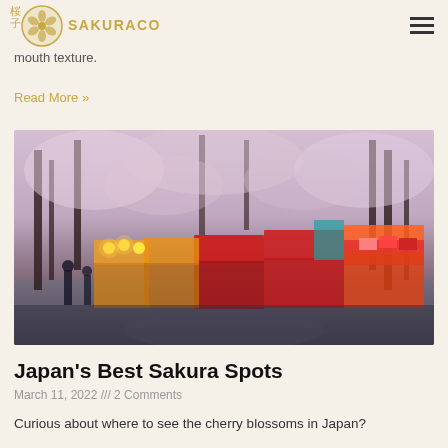桜子 SAKURACO
he peaches are unique. Peaches cultivated in Japan are sweet and juicy, their soft white flesh unparalleled for its sweetness and melt-in-your-mouth texture.
Read More »
[Figure (photo): Cherry blossom festival scene with illuminated food stalls lining a pathway under blooming sakura trees at dusk]
Japan's Best Sakura Spots
March 11, 2022 /// 2 Comments
Curious about where to see the cherry blossoms in Japan?